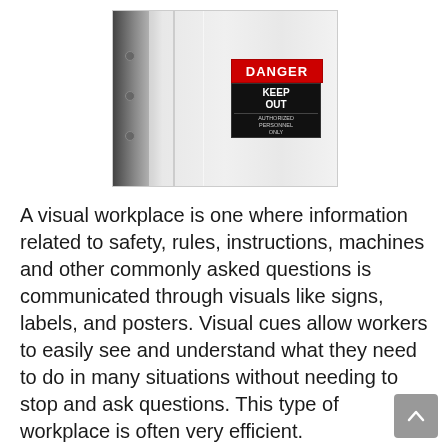[Figure (photo): A photograph of a white door or panel with two warning signs: a red DANGER sign and below it a black KEEP OUT sign reading 'AUTHORIZED PERSONNEL ONLY'.]
A visual workplace is one where information related to safety, rules, instructions, machines and other commonly asked questions is communicated through visuals like signs, labels, and posters. Visual cues allow workers to easily see and understand what they need to do in many situations without needing to stop and ask questions. This type of workplace is often very efficient.